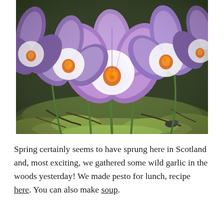[Figure (photo): Close-up photograph of purple crocus flowers with orange stamens and white centres, growing among green moss and dark soil/twigs on the ground.]
Spring certainly seems to have sprung here in Scotland and, most exciting, we gathered some wild garlic in the woods yesterday! We made pesto for lunch, recipe here. You can also make soup.